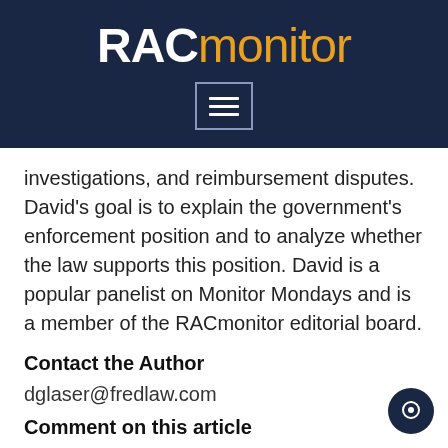[Figure (logo): RACmonitor logo on dark navy background with hamburger menu icon]
investigations, and reimbursement disputes. David's goal is to explain the government's enforcement position and to analyze whether the law supports this position. David is a popular panelist on Monitor Mondays and is a member of the RACmonitor editorial board.
Contact the Author
dglaser@fredlaw.com
Comment on this article
editor@racmonitor.com